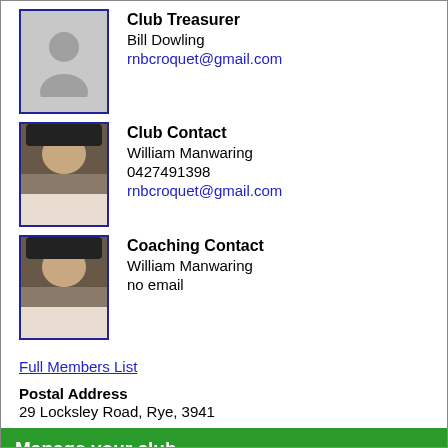[Figure (photo): Club Treasurer - person silhouette placeholder photo]
Club Treasurer
Bill Dowling
rnbcroquet@gmail.com
[Figure (photo): Club Contact - William Manwaring photo]
Club Contact
William Manwaring
0427491398
rnbcroquet@gmail.com
[Figure (photo): Coaching Contact - William Manwaring photo]
Coaching Contact
William Manwaring
no email
Full Members List
Postal Address
29 Locksley Road, Rye, 3941
Manage your club
Enter your club password to manage your club details or list of members.
Password: